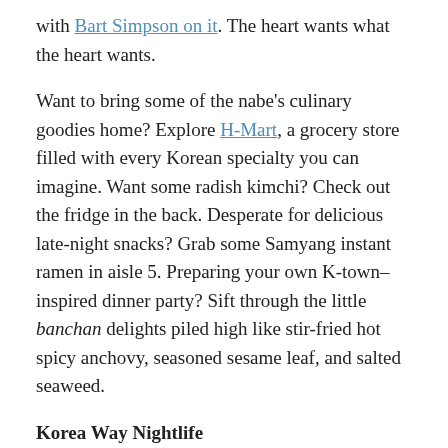with Bart Simpson on it. The heart wants what the heart wants.
Want to bring some of the nabe's culinary goodies home? Explore H-Mart, a grocery store filled with every Korean specialty you can imagine. Want some radish kimchi? Check out the fridge in the back. Desperate for delicious late-night snacks? Grab some Samyang instant ramen in aisle 5. Preparing your own K-town–inspired dinner party? Sift through the little banchan delights piled high like stir-fried hot spicy anchovy, seasoned sesame leaf, and salted seaweed.
Korea Way Nightlife
Karaoke, of course!
The Japanese may have invented karaoke, but the Koreans have mastered it. And while drunken sing-alongs are fun no matter what, some of the